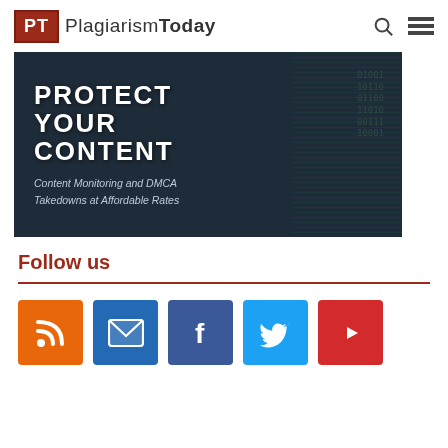PT PlagiarismToday
[Figure (illustration): Dark teal banner image with bold white text reading PROTECT YOUR CONTENT and subtitle Content Monitoring and DMCA Takedowns at Affordable Rates]
Follow us
[Figure (infographic): Row of five social media icon buttons: RSS (orange), Email (blue), Facebook (dark blue), Twitter (light blue), YouTube (red)]